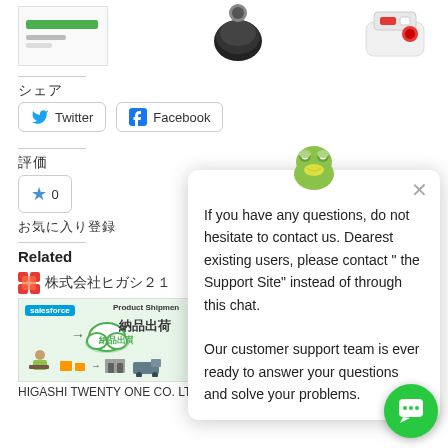[Figure (screenshot): Product listing page screenshot showing product images at top, Japanese share/rating UI elements, related products section with 'HIGASHI TWENTY ONE CO. LTD.' cards, and a live chat popup overlay with a frog mascot icon and customer support message.]
シェア
Twitter
Facebook
評価
お気に入り登録
Related
株式会社ヒガシ２１
HIGASHI TWENTY ONE CO. LTD.
HIGASHI TWENTY ONE CO. LTD.
If you have any questions, do not hesitate to contact us. Dearest existing users, please contact " the Support Site" instead of through this chat.
Our customer support team is ever ready to answer your questions and solve your problems.